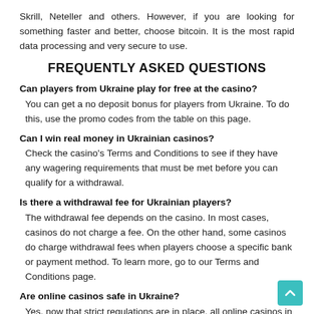Skrill, Neteller and others. However, if you are looking for something faster and better, choose bitcoin. It is the most rapid data processing and very secure to use.
FREQUENTLY ASKED QUESTIONS
Can players from Ukraine play for free at the casino?
You can get a no deposit bonus for players from Ukraine. To do this, use the promo codes from the table on this page.
Can I win real money in Ukrainian casinos?
Check the casino's Terms and Conditions to see if they have any wagering requirements that must be met before you can qualify for a withdrawal.
Is there a withdrawal fee for Ukrainian players?
The withdrawal fee depends on the casino. In most cases, casinos do not charge a fee. On the other hand, some casinos do charge withdrawal fees when players choose a specific bank or payment method. To learn more, go to our Terms and Conditions page.
Are online casinos safe in Ukraine?
Yes, now that strict regulations are in place, all online casinos in...